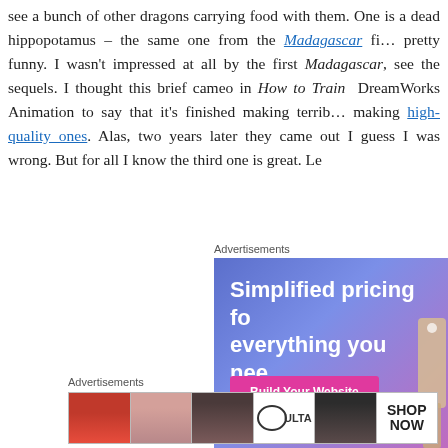see a bunch of other dragons carrying food with them. One is a dead hippopotamus – the same one from the Madagascar film – pretty funny. I wasn't impressed at all by the first Madagascar, see the sequels. I thought this brief cameo in How to Train … DreamWorks Animation to say that it's finished making terrible… making high-quality ones. Alas, two years later they came out … I guess I was wrong. But for all I know the third one is great. Le…
[Figure (screenshot): Advertisement banner: 'Simplified pricing for everything you need' with a 'Build Your Website' pink button on a purple/blue gradient background with a price tag image]
[Figure (screenshot): Bottom advertisement strip showing makeup/beauty product images (lips, brush, eye makeup) with ULTA Beauty logo and SHOP NOW text]